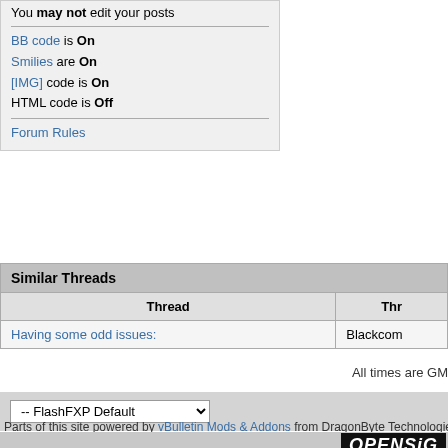You may not edit your posts
BB code is On
Smilies are On
[IMG] code is On
HTML code is Off
Forum Rules
Similar Threads
| Thread | Thr... |
| --- | --- |
| Having some odd issues: | Blackcom... |
All times are GM
-- FlashFXP Default
Parts of this site powered by vBulletin Mods & Addons from DragonByte Technologies Ltd.
OPENSIG Copyright © 1999-2016 O... Powered by vBulletin® Co... Promote FlashFX...